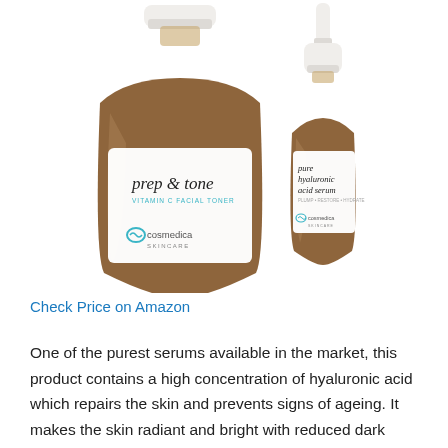[Figure (photo): Two Cosmedica Skincare products on white background: a large amber bottle labeled 'prep & tone VITAMIN C FACIAL TONER' with cosmedica skincare logo, and a smaller amber dropper bottle labeled 'pure hyaluronic acid serum' with cosmedica skincare logo.]
Check Price on Amazon
One of the purest serums available in the market, this product contains a high concentration of hyaluronic acid which repairs the skin and prevents signs of ageing. It makes the skin radiant and bright with reduced dark spots. This